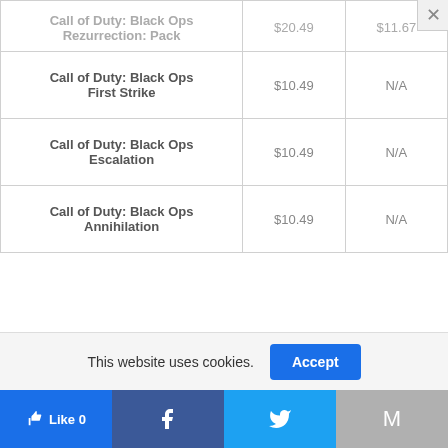| Game | Price | N/A |
| --- | --- | --- |
| Call of Duty: Black Ops Rezurrection: Pack | $20.49 | $11.67 |
| Call of Duty: Black Ops First Strike | $10.49 | N/A |
| Call of Duty: Black Ops Escalation | $10.49 | N/A |
| Call of Duty: Black Ops Annihilation | $10.49 | N/A |
This website uses cookies.
Accept